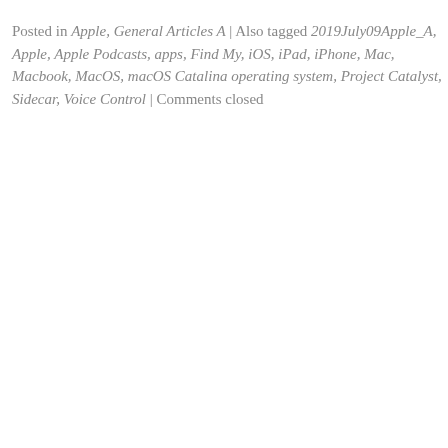Posted in Apple, General Articles A | Also tagged 2019July09Apple_A, Apple, Apple Podcasts, apps, Find My, iOS, iPad, iPhone, Mac, Macbook, MacOS, macOS Catalina operating system, Project Catalyst, Sidecar, Voice Control | Comments closed